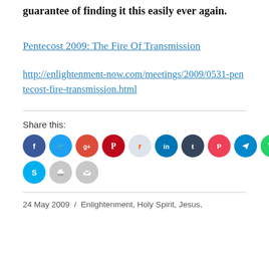guarantee of finding it this easily ever again.
Pentecost 2009: The Fire Of Transmission
http://enlightenment-now.com/meetings/2009/0531-pentecost-fire-transmission.html
Share this:
[Figure (infographic): Social sharing icons row 1: Facebook (dark blue), Twitter (light blue), Google+ (red-orange), Pinterest (dark red), Reddit (light blue/grey), LinkedIn (dark blue), Tumblr (dark navy), Pocket (red), Telegram (blue), WhatsApp (green). Row 2: Skype (cyan), Print (grey), Email (grey).]
24 May 2009  /  Enlightenment, Holy Spirit, Jesus,